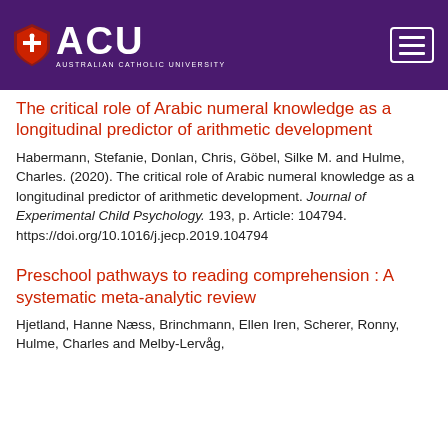[Figure (logo): Australian Catholic University (ACU) logo with shield icon and navigation hamburger button on purple header bar]
The critical role of Arabic numeral knowledge as a longitudinal predictor of arithmetic development
Habermann, Stefanie, Donlan, Chris, Göbel, Silke M. and Hulme, Charles. (2020). The critical role of Arabic numeral knowledge as a longitudinal predictor of arithmetic development. Journal of Experimental Child Psychology. 193, p. Article: 104794. https://doi.org/10.1016/j.jecp.2019.104794
Preschool pathways to reading comprehension : A systematic meta-analytic review
Hjetland, Hanne Næss, Brinchmann, Ellen Iren, Scherer, Ronny, Hulme, Charles and Melby-Lervåg,